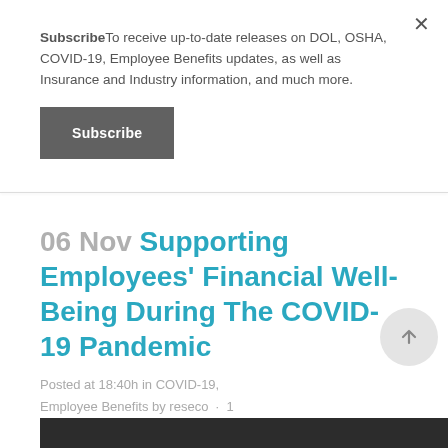SubscribeTo receive up-to-date releases on DOL, OSHA, COVID-19, Employee Benefits updates, as well as Insurance and Industry information, and much more.
Subscribe
06 Nov Supporting Employees' Financial Well-Being During The COVID-19 Pandemic
Posted at 18:40h in COVID-19, Employee Benefits by reseco · 1 Comment · 0 Likes · Share